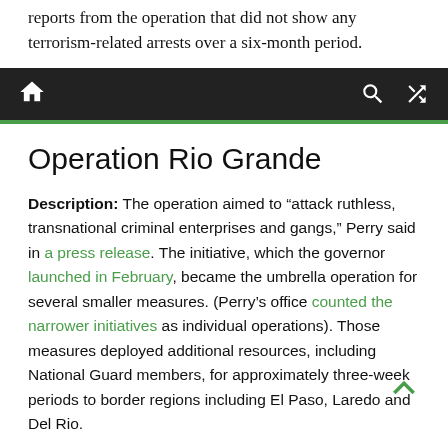reports from the operation that did not show any terrorism-related arrests over a six-month period.
Navigation bar with home, search, and shuffle icons
Operation Rio Grande
Description: The operation aimed to “attack ruthless, transnational criminal enterprises and gangs,” Perry said in a press release. The initiative, which the governor launched in February, became the umbrella operation for several smaller measures. (Perry’s office counted the narrower initiatives as individual operations). Those measures deployed additional resources, including National Guard members, for approximately three-week periods to border regions including El Paso, Laredo and Del Rio.
Stated reason: Perry pointed to several incidents that